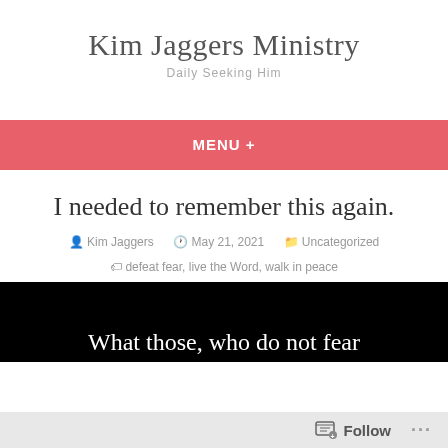Kim Jaggers Ministry
Daily Seeking Him
MENU +
I needed to remember this again.
Kim Jaggers   May 21, 2021   Uncategorized
defeat fear, live the Word, walk in peace
[Figure (photo): Black background image with white serif text reading 'What those, who do not fear']
Follow ...